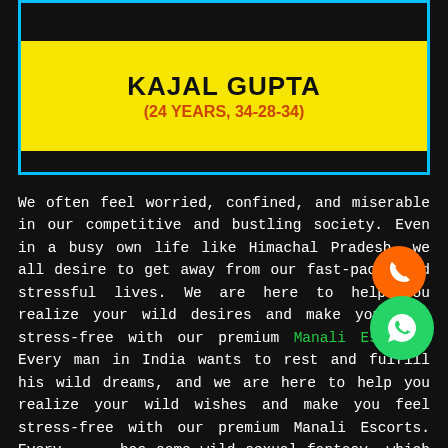KAJAL GUPTA
(24 YEARS, 34-28-34)
We often feel worried, confined, and miserable in our competitive and bustling society. Even in a busy own life like Himachal Pradesh, we all desire to get away from our fast-paced and stressful lives. We are here to help you realize your wild desires and make you feel stress-free with our premium Manali Escorts. Every man in India wants to rest and fulfill his wild dreams, and we are here to help you realize your wild wishes and make you feel stress-free with our premium Manali Escorts. Every man has some wild sexual fantasy, which our Manali call girls will assist you in rest. Our Call Girl have the most beautiful curved bodies and are all you could wish for. They will allow you to do whatever you want and make you feel at ease with them. With their soft and warm bodies, they will make you feel as if you are in heaven, and they will